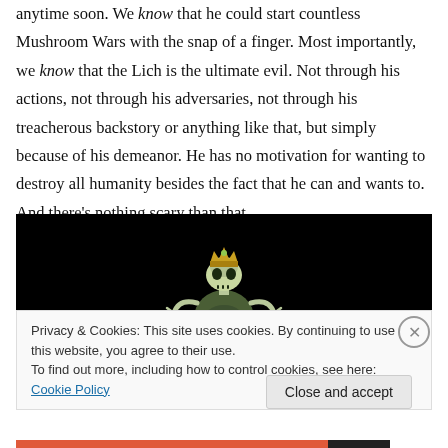anytime soon. We know that he could start countless Mushroom Wars with the snap of a finger. Most importantly, we know that the Lich is the ultimate evil. Not through his actions, not through his adversaries, not through his treacherous backstory or anything like that, but simply because of his demeanor. He has no motivation for wanting to destroy all humanity besides the fact that he can and wants to. And there's nothing scary than that.
[Figure (illustration): A pixel-art style illustration of the Lich character from Adventure Time, shown on a black background. The Lich is a skeletal, robed figure with a skull face, wearing a green crown, and holding out clawed hands.]
Privacy & Cookies: This site uses cookies. By continuing to use this website, you agree to their use.
To find out more, including how to control cookies, see here: Cookie Policy